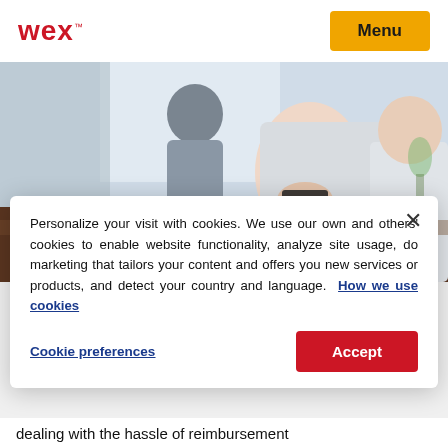WEX™  Menu
[Figure (photo): Office scene showing a person in a light grey blazer holding a credit card over a laptop keyboard, with another person blurred in the background. Bright, professional office environment.]
Personalize your visit with cookies. We use our own and others' cookies to enable website functionality, analyze site usage, do marketing that tailors your content and offers you new services or products, and detect your country and language.  How we use cookies
Cookie preferences   Accept
dealing with the hassle of reimbursement